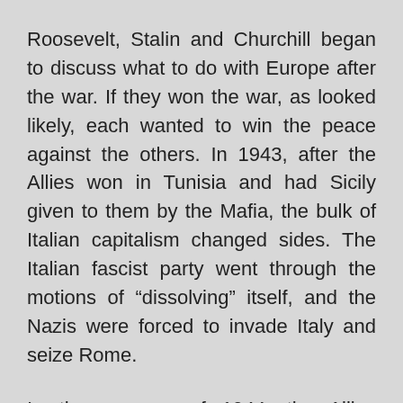Roosevelt, Stalin and Churchill began to discuss what to do with Europe after the war. If they won the war, as looked likely, each wanted to win the peace against the others. In 1943, after the Allies won in Tunisia and had Sicily given to them by the Mafia, the bulk of Italian capitalism changed sides. The Italian fascist party went through the motions of “dissolving” itself, and the Nazis were forced to invade Italy and seize Rome.
In the summer of 1944, the Allies invaded Normandy and re-took Rome. Rome had been the subject of a race between U.S. and British troops – soon such races were to happen over many of the major cities in Europe. De Gaulle managed to set up a government in Paris before the U.S. troops arrived. In most countries of Europe, a major split within the